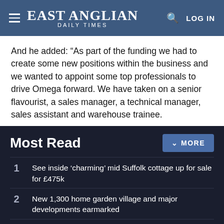EAST ANGLIAN DAILY TIMES
And he added: “As part of the funding we had to create some new positions within the business and we wanted to appoint some top professionals to drive Omega forward. We have taken on a senior flavourist, a sales manager, a technical manager, sales assistant and warehouse trainee.
Most Read
1. See inside ‘charming’ mid Suffolk cottage up for sale for £475k
2. New 1,300 home garden village and major developments earmarked
3. 5 pubs up for sale in Suffolk right now